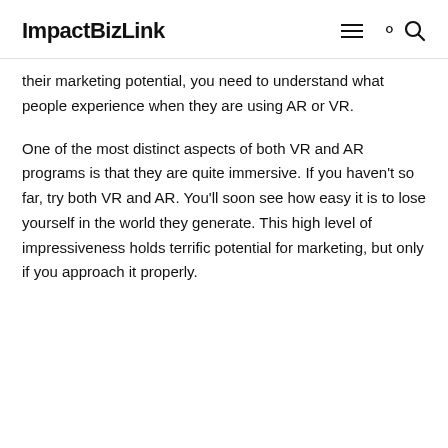ImpactBizLink
their marketing potential, you need to understand what people experience when they are using AR or VR.
One of the most distinct aspects of both VR and AR programs is that they are quite immersive. If you haven't so far, try both VR and AR. You'll soon see how easy it is to lose yourself in the world they generate. This high level of impressiveness holds terrific potential for marketing, but only if you approach it properly.